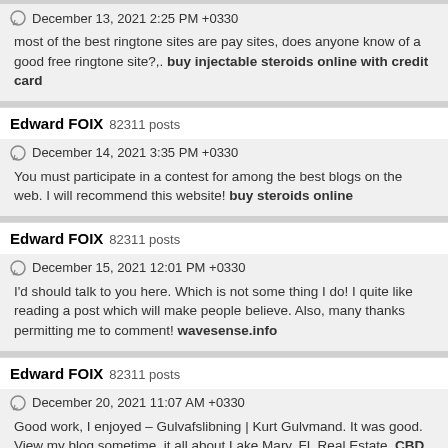December 13, 2021 2:25 PM +0330
most of the best ringtone sites are pay sites, does anyone know of a good free ringtone site?,. buy injectable steroids online with credit card
Edward FOIX 82311 posts
December 14, 2021 3:35 PM +0330
You must participate in a contest for among the best blogs on the web. I will recommend this website! buy steroids online
Edward FOIX 82311 posts
December 15, 2021 12:01 PM +0330
I'd should talk to you here. Which is not some thing I do! I quite like reading a post which will make people believe. Also, many thanks permitting me to comment! wavesense.info
Edward FOIX 82311 posts
December 20, 2021 11:07 AM +0330
Good work, I enjoyed – Gulvafslibning | Kurt Gulvmand. It was good. View my blog sometime, it all about Lake Mary, FL Real Estate. CBD oil vs tincture